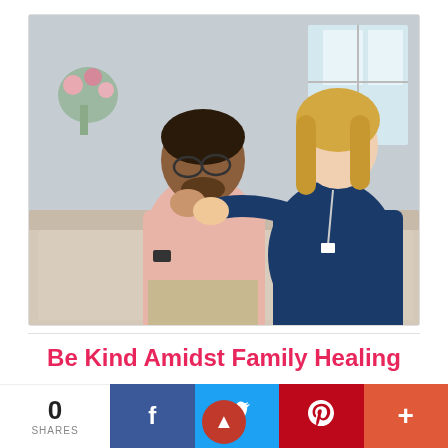[Figure (photo): A healthcare worker or counselor in a navy blue top placing a comforting hand on the shoulder of a middle-aged man in a pink shirt who appears distressed, sitting on a sofa. Indoor home setting.]
Be Kind Amidst Family Healing
Dealing with the loss of a loved one can be too hard